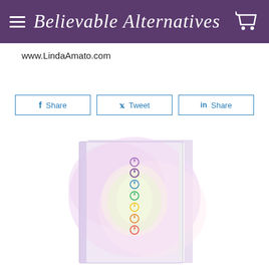Believable Alternatives
www.LindaAmato.com
[Figure (screenshot): Social sharing buttons: Facebook Share, Twitter Tweet, LinkedIn Share]
[Figure (photo): A book with a colorful pastel chakra swirl cover showing spiral chakra symbols in rainbow colors on a pink and white background]